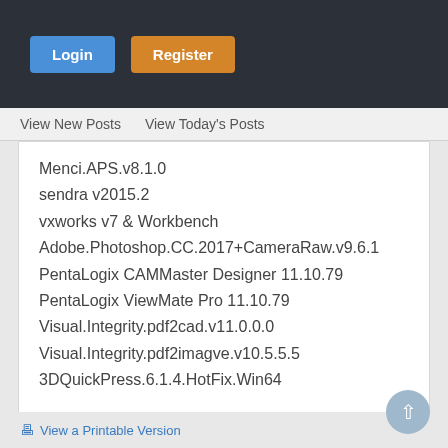Login  Register
View New Posts  View Today's Posts
Menci.APS.v8.1.0
sendra v2015.2
vxworks v7 & Workbench
Adobe.Photoshop.CC.2017+CameraRaw.v9.6.1
PentaLogix CAMMaster Designer 11.10.79
PentaLogix ViewMate Pro 11.10.79
Visual.Integrity.pdf2cad.v11.0.0.0
Visual.Integrity.pdf2imagve.v10.5.5.5
3DQuickPress.6.1.4.HotFix.Win64
View a Printable Version